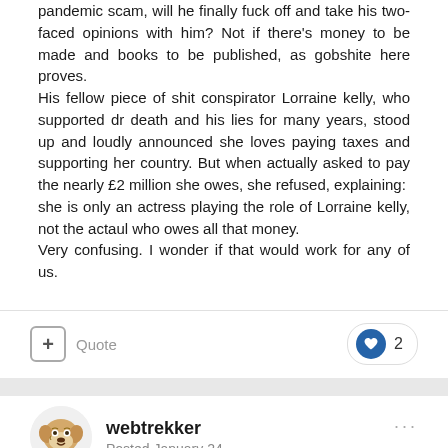pandemic scam, will he finally fuck off and take his two-faced opinions with him? Not if there's money to be made and books to be published, as gobshite here proves.
His fellow piece of shit conspirator Lorraine kelly, who supported dr death and his lies for many years, stood up and loudly announced she loves paying taxes and supporting her country. But when actually asked to pay the nearly £2 million she owes, she refused, explaining:  she is only an actress playing the role of Lorraine kelly, not the actaul who owes all that money.
Very confusing. I wonder if that would work for any of us.
Quote  ♥ 2
webtrekker
Posted January 24
Comment from TCW Defending Freedom site, and I couldn't agree more ...